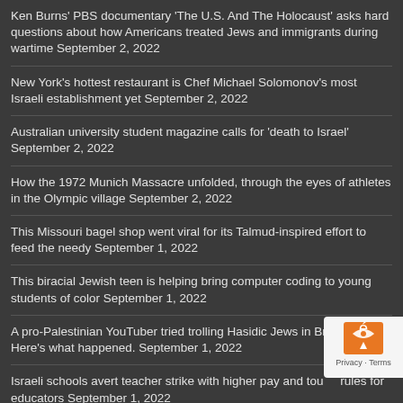Ken Burns' PBS documentary 'The U.S. And The Holocaust' asks hard questions about how Americans treated Jews and immigrants during wartime September 2, 2022
New York's hottest restaurant is Chef Michael Solomonov's most Israeli establishment yet September 2, 2022
Australian university student magazine calls for 'death to Israel' September 2, 2022
How the 1972 Munich Massacre unfolded, through the eyes of athletes in the Olympic village September 2, 2022
This Missouri bagel shop went viral for its Talmud-inspired effort to feed the needy September 1, 2022
This biracial Jewish teen is helping bring computer coding to young students of color September 1, 2022
A pro-Palestinian YouTuber tried trolling Hasidic Jews in Brooklyn. Here's what happened. September 1, 2022
Israeli schools avert teacher strike with higher pay and tough rules for educators September 1, 2022
Israeli families of Munich Olympics massacre victims agree to